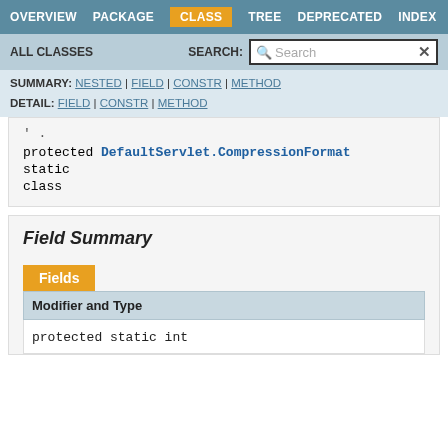OVERVIEW | PACKAGE | CLASS | TREE | DEPRECATED | INDEX
ALL CLASSES  SEARCH:
SUMMARY: NESTED | FIELD | CONSTR | METHOD  DETAIL: FIELD | CONSTR | METHOD
protected DefaultServlet.CompressionFormat
static
class
Field Summary
| Modifier and Type |
| --- |
| protected static int |